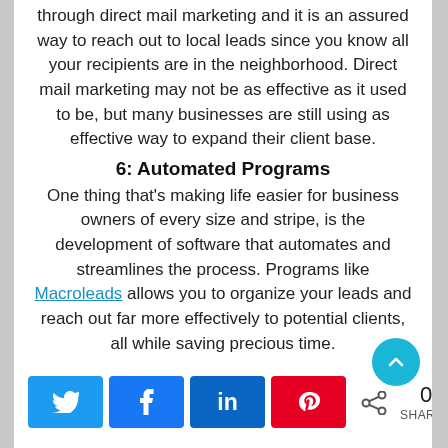through direct mail marketing and it is an assured way to reach out to local leads since you know all your recipients are in the neighborhood. Direct mail marketing may not be as effective as it used to be, but many businesses are still using as effective way to expand their client base.
6: Automated Programs
One thing that's making life easier for business owners of every size and stripe, is the development of software that automates and streamlines the process. Programs like Macroleads allows you to organize your leads and reach out far more effectively to potential clients, all while saving precious time.
[Figure (other): Social share bar with Twitter, Facebook, LinkedIn, Pinterest buttons and share count of 0]